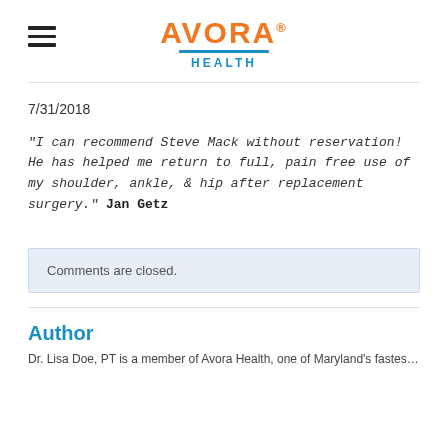[Figure (logo): Avora Health logo with hamburger menu icon on the left]
7/31/2018
"I can recommend Steve Mack without reservation! He has helped me return to full, pain free use of my shoulder, ankle, & hip after replacement surgery." Jan Getz
Comments are closed.
Author
Dr. Lisa Doe, PT is a member of Avora Health, one of Maryland's fastest...